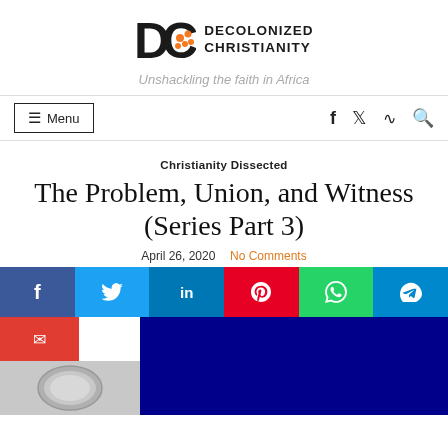[Figure (logo): Decolonized Christianity logo with DC letters and circular dot icon, and text DECOLONIZED CHRISTIANITY]
Unshackling the faith in Africa
[Figure (infographic): Navigation bar with Menu button and social icons (f, twitter, rss, search)]
Christianity Dissected
The Problem, Union, and Witness (Series Part 3)
April 26, 2020   No Comments
[Figure (infographic): Social share buttons: Facebook, Twitter, LinkedIn, Pinterest, WhatsApp, Telegram, Email]
[Figure (photo): Bottom image strip: coin/medal on left, dark blue image on right]